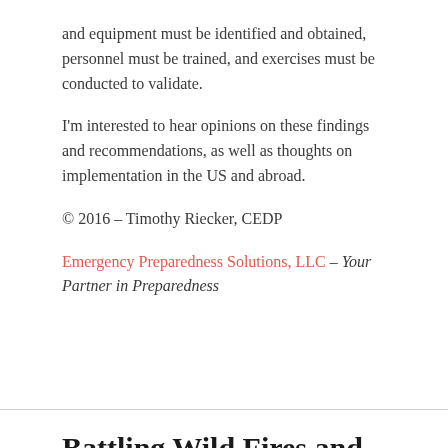and equipment must be identified and obtained, personnel must be trained, and exercises must be conducted to validate.
I'm interested to hear opinions on these findings and recommendations, as well as thoughts on implementation in the US and abroad.
© 2016 – Timothy Riecker, CEDP
Emergency Preparedness Solutions, LLC – Your Partner in Preparedness
Battling Wild Fires and